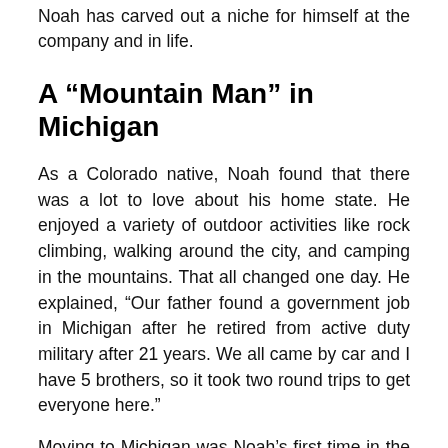Noah has carved out a niche for himself at the company and in life.
A “Mountain Man” in Michigan
As a Colorado native, Noah found that there was a lot to love about his home state. He enjoyed a variety of outdoor activities like rock climbing, walking around the city, and camping in the mountains. That all changed one day. He explained, “Our father found a government job in Michigan after he retired from active duty military after 21 years. We all came by car and I have 5 brothers, so it took two round trips to get everyone here.”
Moving to Michigan was Noah’s first time in the state. Needless to say, it was a bit of a culture shock when he arrived. “I wasn’t used to seeing so